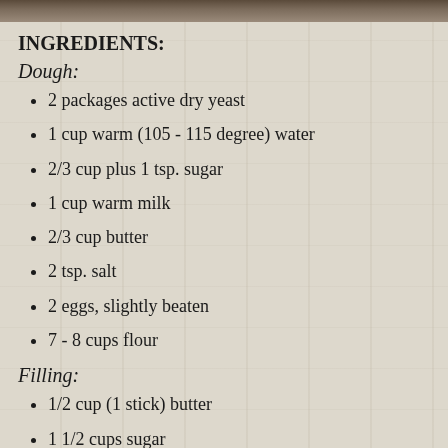[Figure (photo): Photo strip at top of page showing food]
INGREDIENTS:
Dough:
2 packages active dry yeast
1 cup warm (105 - 115 degree) water
2/3 cup plus 1 tsp. sugar
1 cup warm milk
2/3 cup butter
2 tsp. salt
2 eggs, slightly beaten
7 - 8 cups flour
Filling:
1/2 cup (1 stick) butter
1 1/2 cups sugar